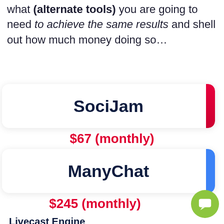what (alternate tools) you are going to need to achieve the same results and shell out how much money doing so…
SociJam
$67 (monthly)
ManyChat
$245 (monthly)
Livecast Engine